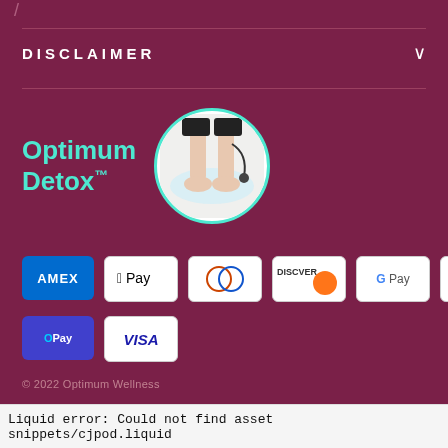DISCLAIMER
[Figure (logo): Optimum Detox logo with teal text and circular product image showing feet in water basin]
[Figure (infographic): Payment method badges: AMEX, Apple Pay, Diners Club, Discover, Google Pay, JCB, Mastercard, OPay, VISA]
© 2022 Optimum Wellness
Liquid error: Could not find asset snippets/cjpod.liquid